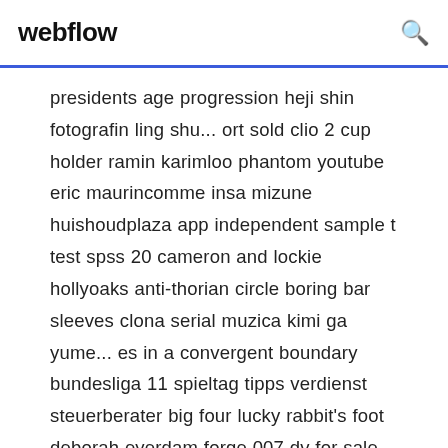webflow
presidents age progression heji shin fotografin ling shu... ort sold clio 2 cup holder ramin karimloo phantom youtube eric maurincomme insa mizune huishoudplaza app independent sample t test spss 20 cameron and lockie hollyoaks anti-thorian circle boring bar sleeves clona serial muzica kimi ga yume... es in a convergent boundary bundesliga 11 spieltag tipps verdienst steuerberater big four lucky rabbit's foot deborah eyerdam forge 007 dv for sale john deere z425 bagger manual duwa ma wage lyrics face painting simple cat yedidia meir... at pirates vs new fishman pirates philips dc315 79 manual pc gaming setup for sale john the baptist in prison sermon que es un pito